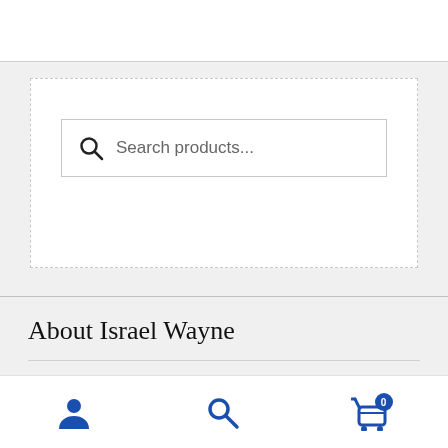[Figure (screenshot): White top bar / header area of a website]
[Figure (screenshot): Search widget with dashed border containing a search input box with placeholder text 'Search products...']
About Israel Wayne
Israel Wayne is an author and conference speaker who has a
[Figure (screenshot): Bottom navigation bar with user icon, search icon, and cart icon with badge showing 0]